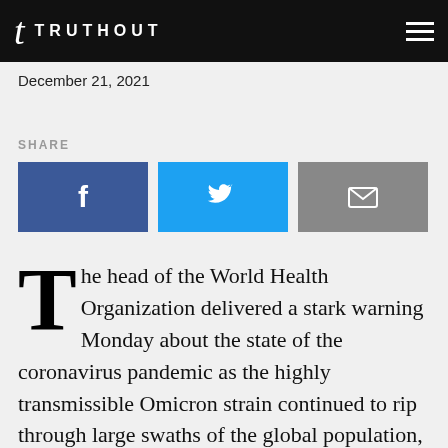TRUTHOUT
December 21, 2021
SHARE
[Figure (infographic): Social share buttons: Facebook (blue), Twitter (cyan), Email (gray)]
The head of the World Health Organization delivered a stark warning Monday about the state of the coronavirus pandemic as the highly transmissible Omicron strain continued to rip through large swaths of the global population, posing the greatest threat to poor